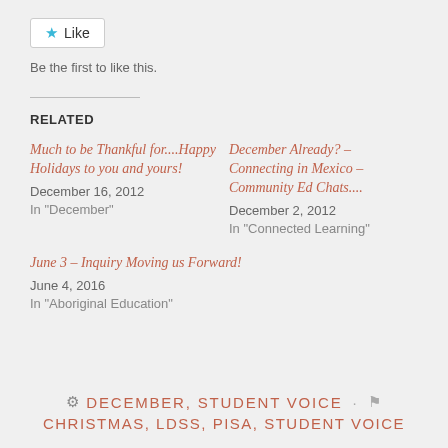[Figure (other): Like button widget with blue star icon and 'Like' text]
Be the first to like this.
RELATED
Much to be Thankful for....Happy Holidays to you and yours!
December 16, 2012
In "December"
December Already? – Connecting in Mexico – Community Ed Chats....
December 2, 2012
In "Connected Learning"
June 3 – Inquiry Moving us Forward!
June 4, 2016
In "Aboriginal Education"
DECEMBER, STUDENT VOICE · CHRISTMAS, LDSS, PISA, STUDENT VOICE